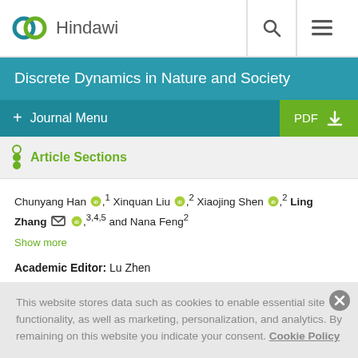Hindawi
Discrete Dynamics in Nature and Society
Journal Menu
Article Sections
Chunyang Han, 1 Xinquan Liu, 2 Xiaojing Shen, 2 Ling Zhang, 3,4,5 and Nana Feng 2
Show more
Academic Editor: Lu Zhen
This website stores data such as cookies to enable essential site functionality, as well as marketing, personalization, and analytics. By remaining on this website you indicate your consent. Cookie Policy